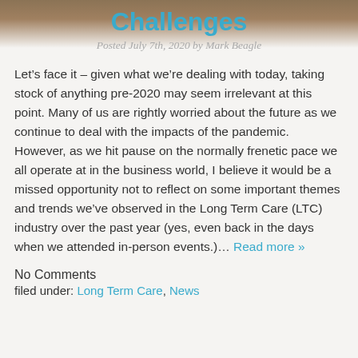Challenges
Posted July 7th, 2020 by Mark Beagle
Let’s face it – given what we’re dealing with today, taking stock of anything pre-2020 may seem irrelevant at this point. Many of us are rightly worried about the future as we continue to deal with the impacts of the pandemic. However, as we hit pause on the normally frenetic pace we all operate at in the business world, I believe it would be a missed opportunity not to reflect on some important themes and trends we’ve observed in the Long Term Care (LTC) industry over the past year (yes, even back in the days when we attended in-person events.)… Read more »
No Comments
filed under: Long Term Care, News